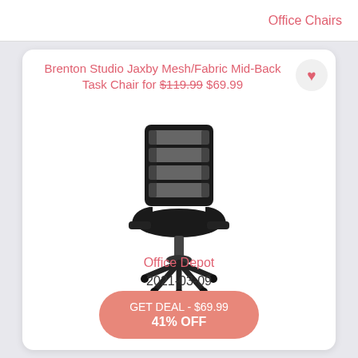Office Chairs
Brenton Studio Jaxby Mesh/Fabric Mid-Back Task Chair for $119.99 $69.99
[Figure (photo): Black mesh mid-back office task chair with armrests and five-star wheeled base]
Office Depot
2021-03-09
GET DEAL - $69.99
41% OFF